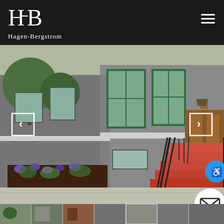[Figure (logo): Hagen-Bergstrom real estate logo with HB monogram on dark background header]
[Figure (photo): Exterior photo of townhouse at 1730, gray brick building with green-trimmed windows, red painted front steps with black iron railings, wooden front door, and landscaped garden bed with flowers]
[Figure (photo): Thumbnail strip of multiple property photos at bottom of page]